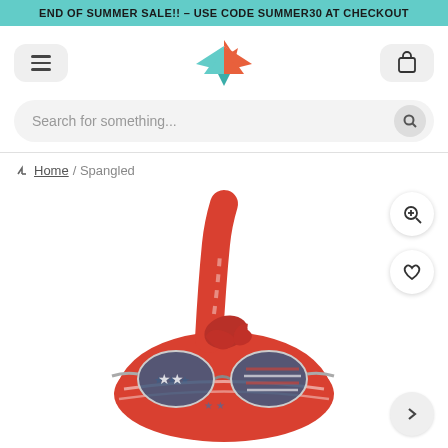END OF SUMMER SALE!! – USE CODE SUMMER30 AT CHECKOUT
[Figure (logo): Origami bird logo in teal and orange]
Search for something...
Home / Spangled
[Figure (photo): Red bandana/hat with American flag sunglasses pattern (stars and stripes), tied at the top, on white background]